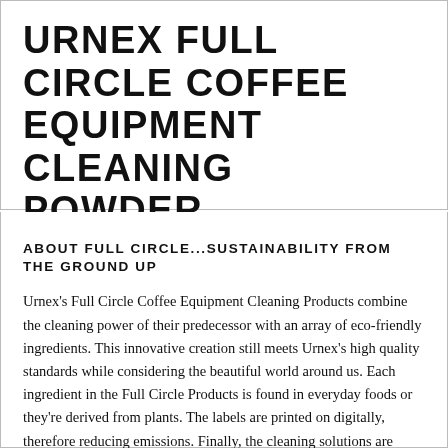URNEX FULL CIRCLE COFFEE EQUIPMENT CLEANING POWDER
ABOUT FULL CIRCLE...SUSTAINABILITY FROM THE GROUND UP
Urnex's Full Circle Coffee Equipment Cleaning Products combine the cleaning power of their predecessor with an array of eco-friendly ingredients. This innovative creation still meets Urnex's high quality standards while considering the beautiful world around us. Each ingredient in the Full Circle Products is found in everyday foods or they're derived from plants. The labels are printed on digitally, therefore reducing emissions. Finally, the cleaning solutions are phosphate-free and are stored